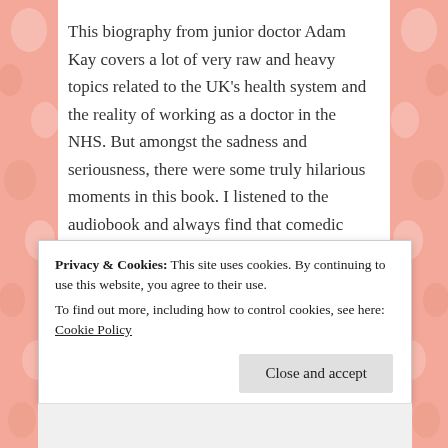This biography from junior doctor Adam Kay covers a lot of very raw and heavy topics related to the UK's health system and the reality of working as a doctor in the NHS. But amongst the sadness and seriousness, there were some truly hilarious moments in this book. I listened to the audiobook and always find that comedic moments come across better because of the tone of voice and manner in which it's verbally performed. Since Adam Kay himself narrated the audiobook that I listened to, he knew just how to make the comedic moments hit
Privacy & Cookies: This site uses cookies. By continuing to use this website, you agree to their use. To find out more, including how to control cookies, see here: Cookie Policy
Close and accept